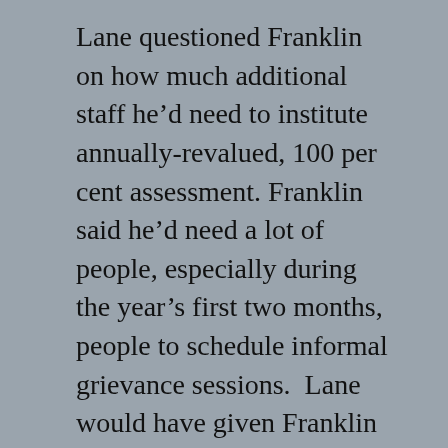Lane questioned Franklin on how much additional staff he’d need to institute annually-revalued, 100 per cent assessment. Franklin said he’d need a lot of people, especially during the year’s first two months, people to schedule informal grievance sessions. Lane would have given Franklin the necessary manpower. And the Dryden lawmaker voted against the committee’s resolution for just that reason.
Yet even the Assessment Director recommended against hiring the people and taking the time to do the job the way he’d otherwise prefer it be done. “Our office is not designed to do a countywide revaluation in a